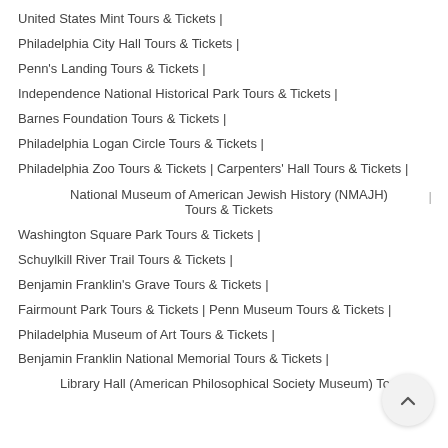United States Mint Tours & Tickets |
Philadelphia City Hall Tours & Tickets |
Penn's Landing Tours & Tickets |
Independence National Historical Park Tours & Tickets |
Barnes Foundation Tours & Tickets |
Philadelphia Logan Circle Tours & Tickets |
Philadelphia Zoo Tours & Tickets | Carpenters' Hall Tours & Tickets |
National Museum of American Jewish History (NMAJH) Tours & Tickets |
Washington Square Park Tours & Tickets |
Schuylkill River Trail Tours & Tickets |
Benjamin Franklin's Grave Tours & Tickets |
Fairmount Park Tours & Tickets | Penn Museum Tours & Tickets |
Philadelphia Museum of Art Tours & Tickets |
Benjamin Franklin National Memorial Tours & Tickets |
Library Hall (American Philosophical Society Museum) Tours &